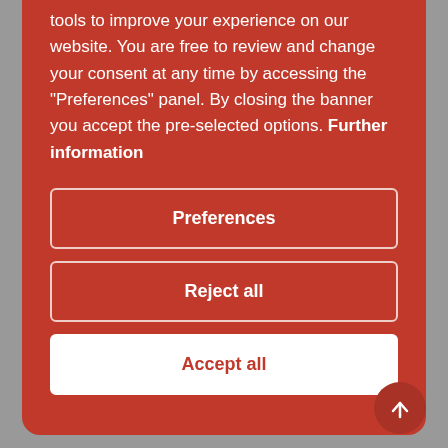tools to improve your experience on our website. You are free to review and change your consent at any time by accessing the "Preferences" panel. By closing the banner you accept the pre-selected options. Further information
Preferences
Reject all
Accept all
[Figure (illustration): Social media icons: Facebook, YouTube, Twitter]
ACCOUNT & ORDERS
Login
Track your Order
Affiliate Program